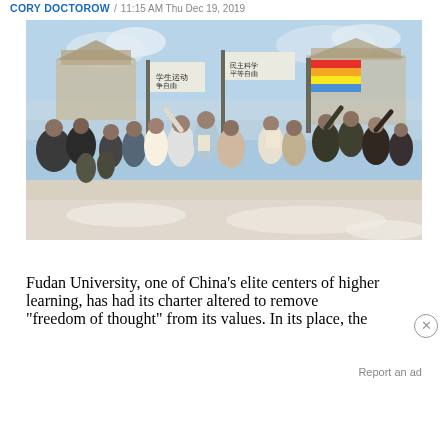CORY DOCTOROW / 11:15 AM Thu Dec 19, 2019
[Figure (illustration): A painting depicting a large crowd of Chinese students marching and protesting, carrying banners with Chinese characters, with traditional Chinese architecture (resembling Tiananmen area) in the background. The scene appears to depict a historical student movement. Figures in period clothing march energetically, some raising fists or papers.]
Fudan University, one of China's elite centers of higher learning, has had its charter altered to remove "freedom of thought" from its values. In its place, the
Report an ad